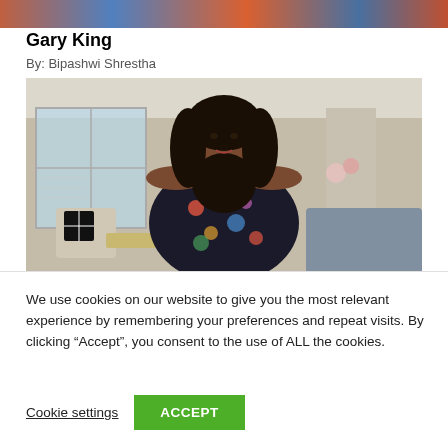[Figure (photo): Partial cropped photo strip at top of page showing colorful background]
Gary King
By: Bipashwi Shrestha
[Figure (photo): Woman with long curly dark hair wearing a floral off-shoulder top, standing in a living room with windows and furniture in the background]
We use cookies on our website to give you the most relevant experience by remembering your preferences and repeat visits. By clicking “Accept”, you consent to the use of ALL the cookies.
Cookie settings
ACCEPT